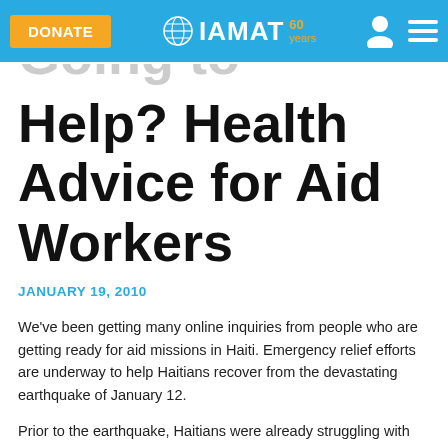DONATE | IAMAT 60 years
Help? Health Advice for Aid Workers
JANUARY 19, 2010
We've been getting many online inquiries from people who are getting ready for aid missions in Haiti. Emergency relief efforts are underway to help Haitians recover from the devastating earthquake of January 12.
Prior to the earthquake, Haitians were already struggling with...